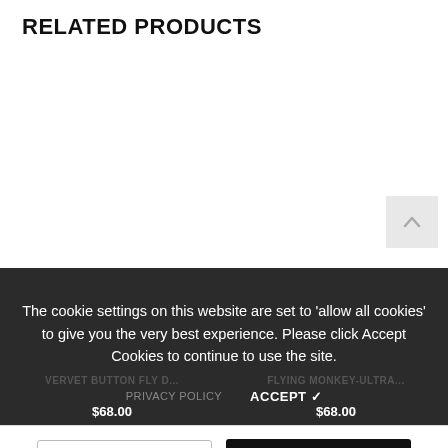RELATED PRODUCTS
The cookie settings on this website are set to 'allow all cookies' to give you the very best experience. Please click Accept Cookies to continue to use the site.
VERVET BUTTON FLY D...
FLYING MONKEY-ULTRA...
PRIVACY POLICY
ACCEPT ✓
$68.00
$68.00
Medium - $29.00
ADD TO CART